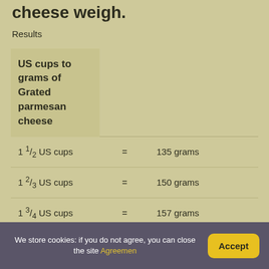cheese weigh.
Results
| US cups to grams of Grated parmesan cheese |  |  |
| --- | --- | --- |
| 1 1/2 US cups | = | 135 grams |
| 1 2/3 US cups | = | 150 grams |
| 1 3/4 US cups | = | 157 grams |
We store cookies: if you do not agree, you can close the site Agreemen